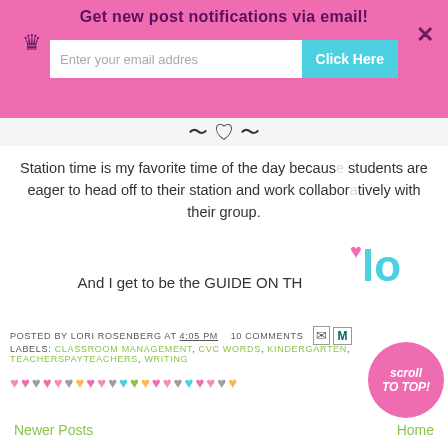[Figure (screenshot): Pink notification bar with crown icon, 'Get new post notifications via email!' heading, email input field, 'Click Here' button, and close X]
[Figure (illustration): Partial decorative image at top of blog content area]
Station time is my favorite time of the day because students are eager to head off to their station and work collaboratively with their group.
And I get to be the GUIDE ON TH...
[Figure (logo): Partial cursive logo/signature in blue with pink heart decoration]
POSTED BY LORI ROSENBERG AT 4:05 PM   10 COMMENTS
LABELS: CLASSROOM MANAGEMENT, CVC WORDS, KINDERGARTEN, TEACHERSPAYTEACHERS, WRITING
[Figure (illustration): Row of colorful heart decorations in pink, gray, purple, orange, green, yellow, and teal colors]
[Figure (illustration): Pink circular 'scroll TO TOP!' button]
Newer Posts
Home